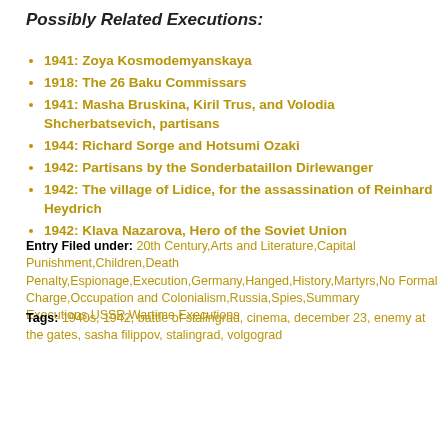Possibly Related Executions:
1941: Zoya Kosmodemyanskaya
1918: The 26 Baku Commissars
1941: Masha Bruskina, Kiril Trus, and Volodia Shcherbatsevich, partisans
1944: Richard Sorge and Hotsumi Ozaki
1942: Partisans by the Sonderbataillon Dirlewanger
1942: The village of Lidice, for the assassination of Reinhard Heydrich
1942: Klava Nazarova, Hero of the Soviet Union
Entry Filed under: 20th Century,Arts and Literature,Capital Punishment,Children,Death Penalty,Espionage,Execution,Germany,Hanged,History,Martyrs,No Formal Charge,Occupation and Colonialism,Russia,Spies,Summary Executions,USSR,Wartime Executions
Tags: 1940s, 1942, battle of stalingrad, cinema, december 23, enemy at the gates, sasha filippov, stalingrad, volgograd